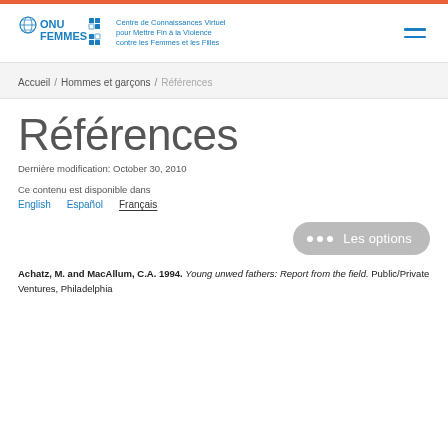[Figure (logo): ONU Femmes logo with UN globe icon and text 'Centre de Connaissances Virtuel pour Mettre Fin à la Violence contre les Femmes et les Filles']
Accueil / Hommes et garçons / Références
Références
Dernière modification: October 30, 2010
Ce contenu est disponible dans
English    Español    Français
Les options
Achatz, M. and MacAllum, C.A. 1994. Young unwed fathers: Report from the field. Public/Private Ventures, Philadelphia